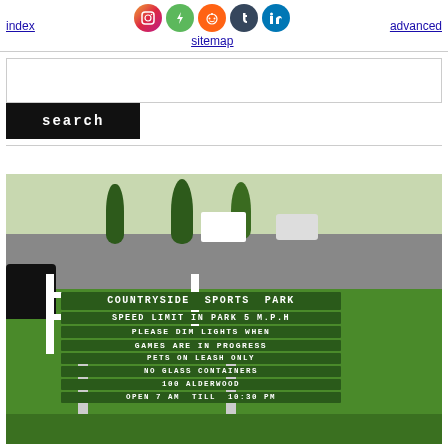index  sitemap  advanced
search
[Figure (photo): Photograph of Countryside Sports Park entrance sign mounted on white fence posts in front of a grassy area. Sign reads: COUNTRYSIDE SPORTS PARK / SPEED LIMIT IN PARK 5 M.P.H / PLEASE DIM LIGHTS WHEN / GAMES ARE IN PROGRESS / PETS ON LEASH ONLY / NO GLASS CONTAINERS / 100 ALDERWOOD / OPEN 7 AM TILL 10:30 PM]